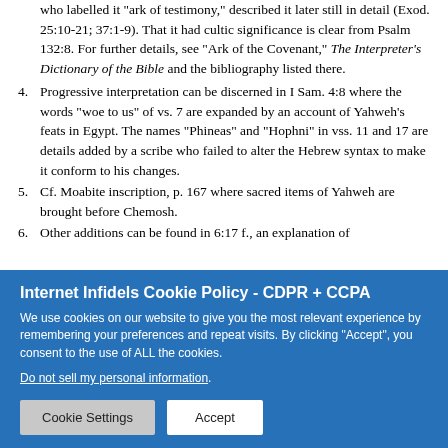who labelled it "ark of testimony," described it later still in detail (Exod. 25:10-21; 37:1-9). That it had cultic significance is clear from Psalm 132:8. For further details, see "Ark of the Covenant," The Interpreter's Dictionary of the Bible and the bibliography listed there.
4. Progressive interpretation can be discerned in I Sam. 4:8 where the words "woe to us" of vs. 7 are expanded by an account of Yahweh’s feats in Egypt. The names "Phineas" and "Hophni" in vss. 11 and 17 are details added by a scribe who failed to alter the Hebrew syntax to make it conform to his changes.
5. Cf. Moabite inscription, p. 167 where sacred items of Yahweh are brought before Chemosh.
6. Other additions can be found in 6:17 f., an explanation of
Internet Infidels Cookie Policy - CDPR + CCPA
We use cookies on our website to give you the most relevant experience by remembering your preferences and repeat visits. By clicking “Accept”, you consent to the use of ALL the cookies.
Do not sell my personal information.